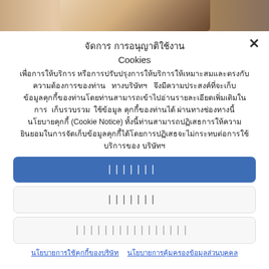[Figure (photo): Partial photo strip at top showing people, cropped]
จัดการ การอนุญาติใช้งาน Cookies
เพื่อการให้บริการ หรือการปรับปรุงการให้บริการให้เหมาะสมและตรงกับความต้องการของท่าน ทางบริษัทฯ จึงมีความประสงค์ที่จะเก็บข้อมูลคุกกี้ของท่านโดยท่านสามารถเข้าไปอ่านรายละเอียดเพิ่มเติมในการ เก็บรวบรวม ใช้ข้อมูล คุกกี้ของท่านได้ ผ่านทางช่องทางนี้ นโยบายคุกกี้ (Cookie Notice) ทั้งนี้ท่านสามารถปฏิเสธการให้ความยินยอมในการจัดเก็บข้อมูลคุกกี้ได้โดยการปฏิเสธจะไม่กระทบต่อการใช้บริการของ บริษัทฯ
ยอมรับ
ปฏิเสธ
จัดการการตั้งค่า
นโยบายการใช้คุกกี้ของบริษัท
นโยบายการคุ้มครองข้อมูลส่วนบุคคล